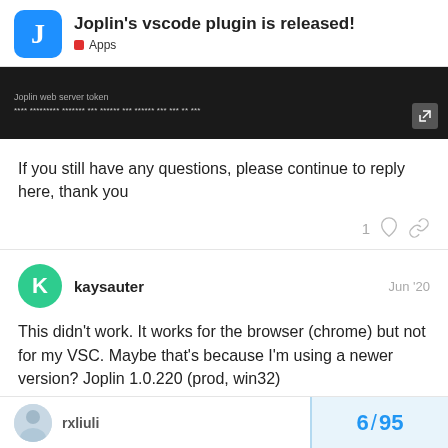Joplin's vscode plugin is released! Apps
[Figure (screenshot): Dark background screenshot showing Joplin web server token configuration field with a token value]
If you still have any questions, please continue to reply here, thank you
kaysauter Jun '20
This didn't work. It works for the browser (chrome) but not for my VSC. Maybe that's because I'm using a newer version? Joplin 1.0.220 (prod, win32)
rxliuli 6 / 95